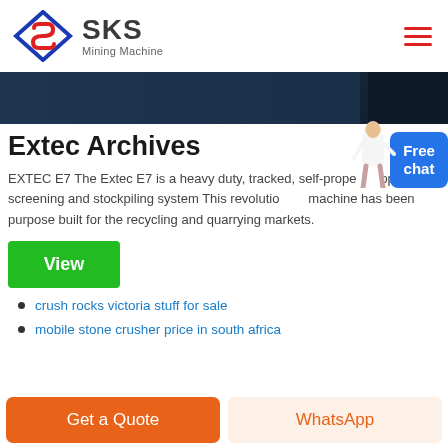SKS Mining Machine
[Figure (screenshot): Dark blue banner image strip representing a mining machine background]
Extec Archives
EXTEC E7 The Extec E7 is a heavy duty, tracked, self-propelled open flow screening and stockpiling system This revolutionary machine has been purpose built for the recycling and quarrying markets.
crush rocks victoria stuff for sale
mobile stone crusher price in south africa
Get a Quote | WhatsApp